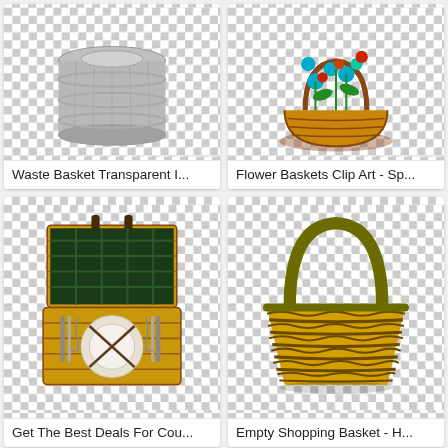[Figure (photo): Waste basket transparent image - metallic silver round waste bin on checkered transparent background]
Waste Basket Transparent I...
[Figure (illustration): Flower Baskets Clip Art - woven basket with blue and red flowers on checkered transparent background]
Flower Baskets Clip Art - Sp...
[Figure (photo): Open wicker picnic basket with cutlery, plates inside and dark plaid lining on checkered transparent background]
Get The Best Deals For Cou...
[Figure (photo): Empty yellow woven shopping basket with dark olive handle on checkered transparent background]
Empty Shopping Basket - H...
[Figure (photo): Tall woven wicker basket with curved handle on checkered transparent background]
[Figure (photo): Rectangular wire mesh storage basket on checkered transparent background]